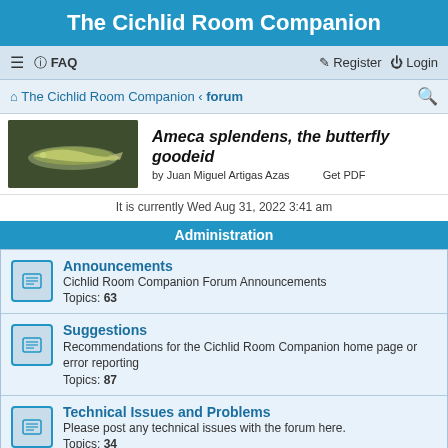The Cichlid Room Companion
≡  FAQ    Register  Login
The Cichlid Room Companion › forum
[Figure (screenshot): Promotional banner for 'Ameca splendens, the butterfly goodeid' by Juan Miguel Artigas Azas with fish photo and Get PDF link]
It is currently Wed Aug 31, 2022 3:41 am
Administration
Announcements
Cichlid Room Companion Forum Announcements
Topics: 63
Suggestions
Recommendations for the Cichlid Room Companion home page or error reporting
Topics: 87
Technical Issues and Problems
Please post any technical issues with the forum here.
Topics: 34
Cichlid talk
Central American Cichlids
Discussion about cichlids from Central America